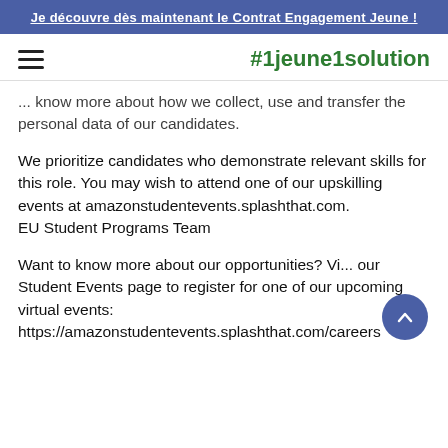Je découvre dès maintenant le Contrat Engagement Jeune !
#1jeune1solution
... know more about how we collect, use and transfer the personal data of our candidates.
We prioritize candidates who demonstrate relevant skills for this role. You may wish to attend one of our upskilling events at amazonstudentevents.splashthat.com.
EU Student Programs Team
Want to know more about our opportunities? Vi... our Student Events page to register for one of our upcoming virtual events:
https://amazonstudentevents.splashthat.com/careers